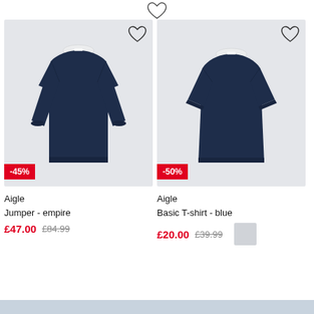[Figure (photo): Navy blue knit jumper/sweater displayed on white background, long-sleeved crew neck, dark navy color]
[Figure (photo): Navy blue basic T-shirt displayed on white background, short-sleeved crew neck, dark navy color]
-45%
-50%
Aigle
Jumper - empire
Aigle
Basic T-shirt - blue
£47.00  £84.99
£20.00  £39.99